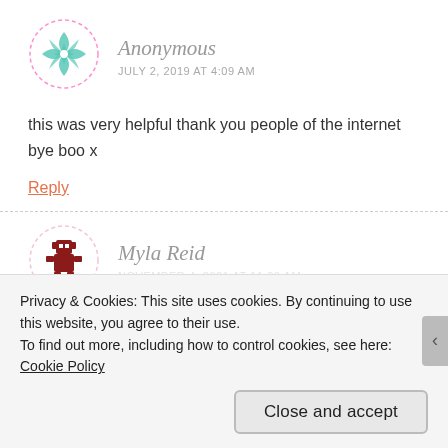[Figure (illustration): Circular avatar with dashed border showing a teal/mint colored geometric quilt-like pattern]
Anonymous
JULY 2, 2019 AT 4:09 AM
this was very helpful thank you people of the internet bye boo x
Reply
[Figure (illustration): Circular avatar with dashed border showing a dark red pixel art character]
Myla Reid
Privacy & Cookies: This site uses cookies. By continuing to use this website, you agree to their use.
To find out more, including how to control cookies, see here: Cookie Policy
Close and accept